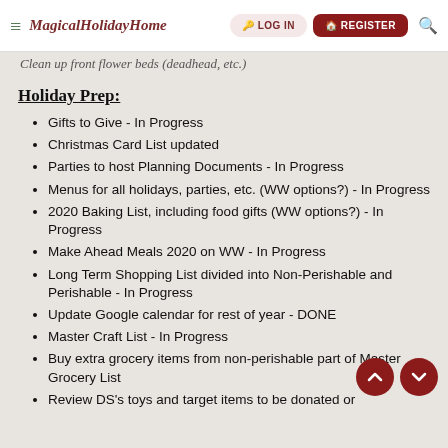MagicalHolidayHome — LOG IN | REGISTER
Clean up front flower beds (deadhead, etc.)
Holiday Prep:
Gifts to Give - In Progress
Christmas Card List updated
Parties to host Planning Documents - In Progress
Menus for all holidays, parties, etc. (WW options?) - In Progress
2020 Baking List, including food gifts (WW options?) - In Progress
Make Ahead Meals 2020 on WW - In Progress
Long Term Shopping List divided into Non-Perishable and Perishable - In Progress
Update Google calendar for rest of year - DONE
Master Craft List - In Progress
Buy extra grocery items from non-perishable part of Master Grocery List
Review DS's toys and target items to be donated or